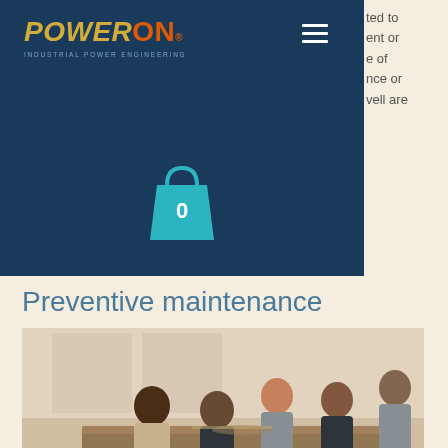POWERON INDUSTRIAL POWER ENGINEERING
[Figure (logo): PowerOn Industrial Power Engineering logo with gold POWER and orange ON text, hamburger menu icon, and shopping cart icon showing 0 items]
ted to
ent or
e of
nce or
vell are
Preventive maintenance
[Figure (photo): Business professionals gathered around a table reviewing documents, group of 5 people in business attire in a bright office setting]
Operators are challenged today by new expectations and concerns, stricter regulations and increased requirements